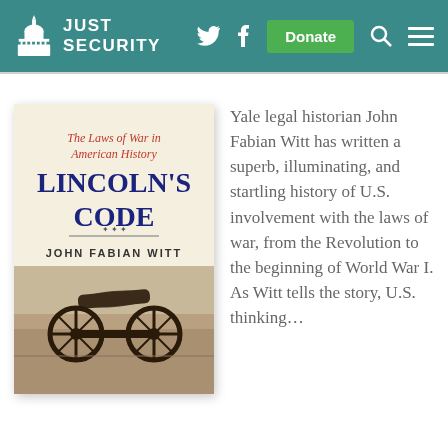JUST SECURITY
[Figure (illustration): Book cover of Lincoln's Code: The Laws of War in American History by John Fabian Witt. Features red italic subtitle 'The Laws of War in American History', large blue serif title 'LINCOLN'S CODE', author name 'JOHN FABIAN WITT', and a sepia-toned photograph of a Civil War cannon on a battlefield.]
Yale legal historian John Fabian Witt has written a superb, illuminating, and startling history of U.S. involvement with the laws of war, from the Revolution to the beginning of World War I. As Witt tells the story, U.S. thinking...